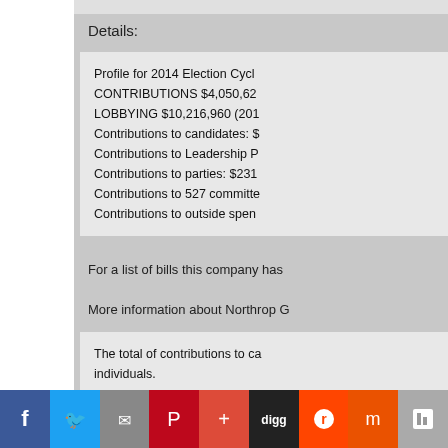Details:
Profile for 2014 Election Cycle CONTRIBUTIONS $4,050,62... LOBBYING $10,216,960 (201... Contributions to candidates: $... Contributions to Leadership P... Contributions to parties: $231... Contributions to 527 committee... Contributions to outside spen...
For a list of bills this company has...
More information about Northrop G...
The total of contributions to ca... individuals. REVOLVING DOOR: 32 out o... jobs. 6 Congressional members ow...